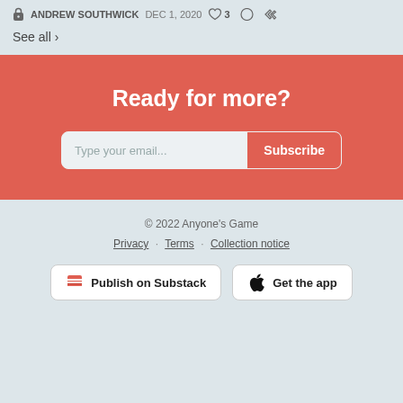ANDREW SOUTHWICK  DEC 1, 2020  ♡ 3
See all ›
Ready for more?
Type your email...  Subscribe
© 2022 Anyone's Game
Privacy · Terms · Collection notice
Publish on Substack  Get the app